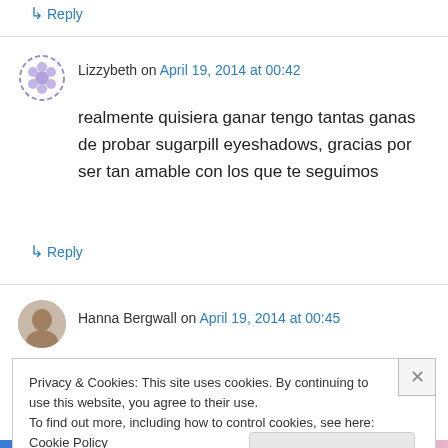↳ Reply
Lizzybeth on April 19, 2014 at 00:42
realmente quisiera ganar tengo tantas ganas de probar sugarpill eyeshadows, gracias por ser tan amable con los que te seguimos
↳ Reply
Hanna Bergwall on April 19, 2014 at 00:45
Privacy & Cookies: This site uses cookies. By continuing to use this website, you agree to their use.
To find out more, including how to control cookies, see here: Cookie Policy
Close and accept